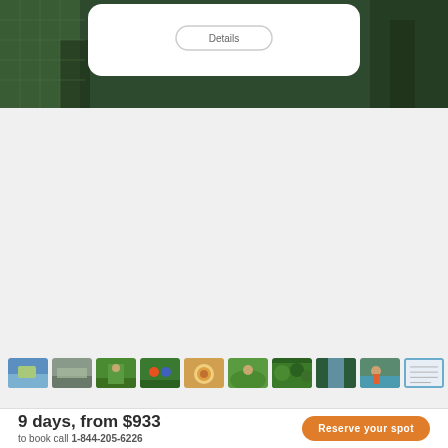[Figure (screenshot): Hero background image of lush green tropical scenery with a white card/modal overlaid showing a button]
[Figure (photo): Row of 10 small travel photo thumbnails showing various destinations including beaches, people hiking, food, and landscapes]
9 days, from $933
to book call 1-844-205-6226
Reserve your spot